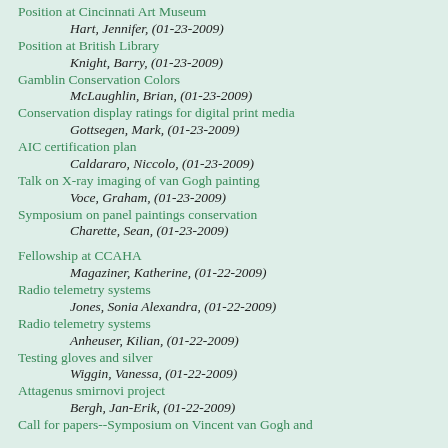Position at Cincinnati Art Museum
Hart, Jennifer, (01-23-2009)
Position at British Library
Knight, Barry, (01-23-2009)
Gamblin Conservation Colors
McLaughlin, Brian, (01-23-2009)
Conservation display ratings for digital print media
Gottsegen, Mark, (01-23-2009)
AIC certification plan
Caldararo, Niccolo, (01-23-2009)
Talk on X-ray imaging of van Gogh painting
Voce, Graham, (01-23-2009)
Symposium on panel paintings conservation
Charette, Sean, (01-23-2009)
Fellowship at CCAHA
Magaziner, Katherine, (01-22-2009)
Radio telemetry systems
Jones, Sonia Alexandra, (01-22-2009)
Radio telemetry systems
Anheuser, Kilian, (01-22-2009)
Testing gloves and silver
Wiggin, Vanessa, (01-22-2009)
Attagenus smirnovi project
Bergh, Jan-Erik, (01-22-2009)
Call for papers--Symposium on Vincent van Gogh and